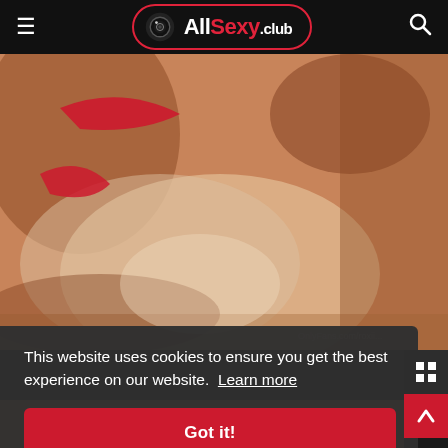AllSexy.club navigation bar with hamburger menu and search icon
[Figure (photo): Close-up photo of a person in a red swimsuit/lingerie, showing skin tones in warm browns and tans, with a watermark in the bottom right corner]
This website uses cookies to ensure you get the best experience on our website.  Learn more
Got it!